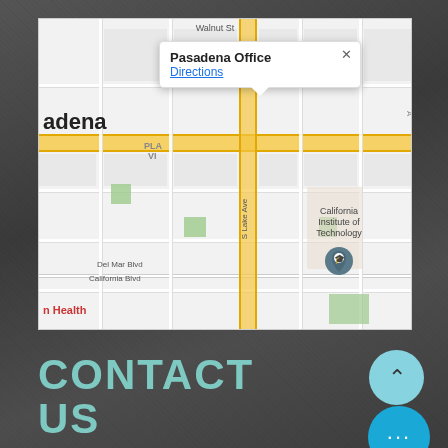[Figure (map): Google Maps view of Pasadena, CA area showing streets including Walnut St, Del Mar Blvd, California Blvd, S Lake Ave. A popup balloon shows 'Pasadena Office' with a 'Directions' link. California Institute of Technology is labeled with a graduation cap pin.]
CONTACT US
For any general inquiries, please in the following contact form: